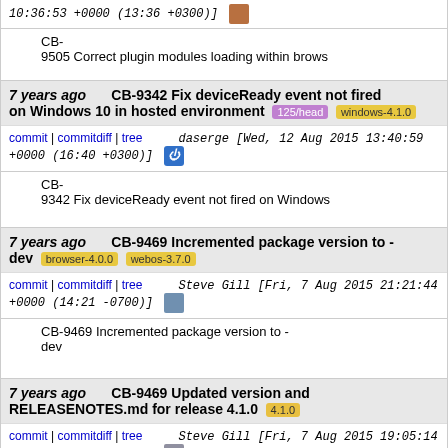10:36:53 +0000 (13:36 +0300)] [avatar]
CB-9505 Correct plugin modules loading within brows
7 years ago  CB-9342 Fix deviceReady event not fired on Windows 10 in hosted environment  125/head  windows-4.1.0
commit | commitdiff | tree   daserge [Wed, 12 Aug 2015 13:40:59 +0000 (16:40 +0300)] [avatar]
CB-9342 Fix deviceReady event not fired on Windows
7 years ago  CB-9469 Incremented package version to -dev  browser-4.0.0  webos-3.7.0
commit | commitdiff | tree   Steve Gill [Fri, 7 Aug 2015 21:21:44 +0000 (14:21 -0700)] [avatar]
CB-9469 Incremented package version to -dev
7 years ago  CB-9469 Updated version and RELEASENOTES.md for release 4.1.0  4.1.0
commit | commitdiff | tree   Steve Gill [Fri, 7 Aug 2015 19:05:14 +0000 (12:05 -0700)] [avatar]